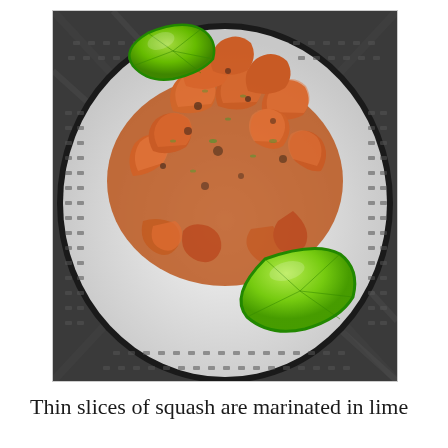[Figure (photo): A plate with a dotted black-and-white pattern holding a pile of spiced, roasted delicata squash rings garnished with lime wedges]
Thin slices of squash are marinated in lime